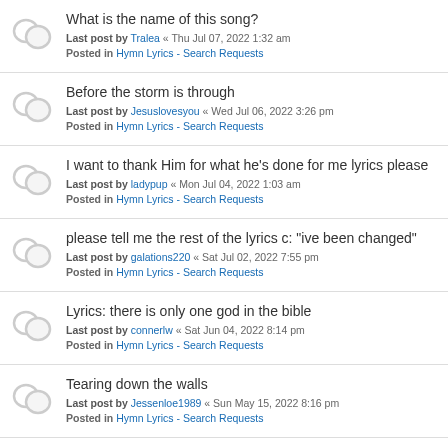What is the name of this song?
Last post by Tralea « Thu Jul 07, 2022 1:32 am
Posted in Hymn Lyrics - Search Requests
Before the storm is through
Last post by Jesuslovesyou « Wed Jul 06, 2022 3:26 pm
Posted in Hymn Lyrics - Search Requests
I want to thank Him for what he's done for me lyrics please
Last post by ladypup « Mon Jul 04, 2022 1:03 am
Posted in Hymn Lyrics - Search Requests
please tell me the rest of the lyrics c: "ive been changed"
Last post by galations220 « Sat Jul 02, 2022 7:55 pm
Posted in Hymn Lyrics - Search Requests
Lyrics: there is only one god in the bible
Last post by connerlw « Sat Jun 04, 2022 8:14 pm
Posted in Hymn Lyrics - Search Requests
Tearing down the walls
Last post by Jessenloe1989 « Sun May 15, 2022 8:16 pm
Posted in Hymn Lyrics - Search Requests
Help! Lyrics to an old song - In His Footsteps
Last post by Old Fashioned Music « Sat Apr 23, 2022 12:26 am